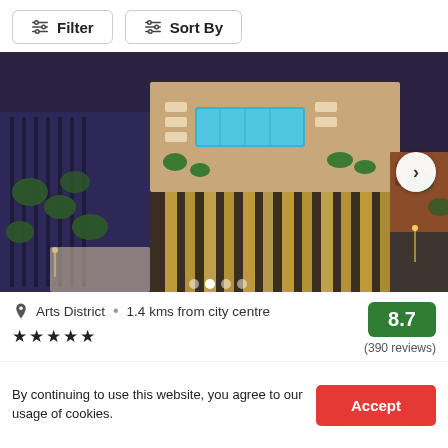Filter  Sort By
[Figure (photo): Aerial night view of a modern luxury hotel with rooftop pool, glowing facade with vertical light strips, surrounded by city greenery and streets]
Arts District • 1.4 kms from city centre
★★★★★  8.7  (390 reviews)
By continuing to use this website, you agree to our usage of cookies.